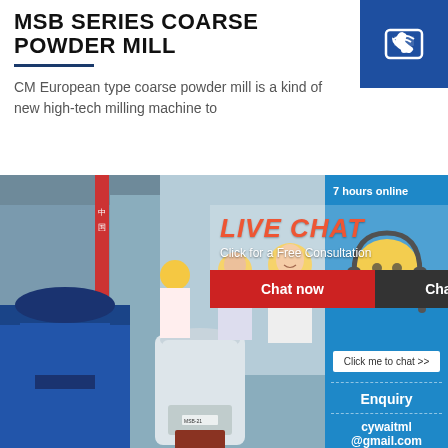MSB SERIES COARSE POWDER MILL
CM European type coarse powder mill is a kind of new high-tech milling machine to
[Figure (photo): Industrial coarse powder mill machine in a factory setting with blue equipment and white mill unit]
[Figure (screenshot): Live chat popup overlay with 'LIVE CHAT' heading in red italic, 'Click for a Free Consultation' subtitle, Chat now (red) and Chat later (dark) buttons]
[Figure (infographic): Blue sidebar with '7 hours online' text, yellow smiley face with headset customer service icon, 'Click me to chat >>' button, 'Enquiry' heading, and email cywaitml@gmail.com]